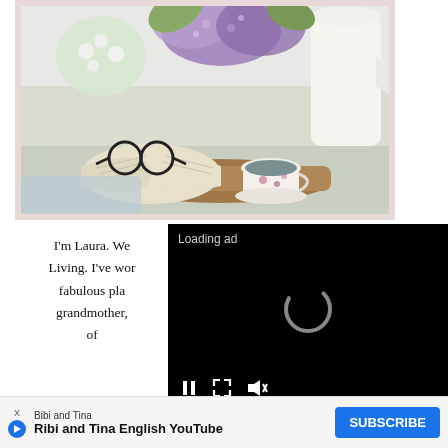[Figure (photo): A cozy styled flat-lay scene with an open book with reading glasses on top, a floral tea cup on a wooden tray, and a white pitcher with purple lilac and white flower bouquet in the background, on a light fabric surface.]
I'm Laura. We[lcome to] Living. I've wor[ked on] fabulous pla[ns for] grandmother, [... a mix] of [...]
[Figure (screenshot): Black video player overlay showing 'Loading ad' text at top left, a circular loading spinner in the center, and media controls (pause, expand, mute) at the bottom.]
[Figure (infographic): Social media icon bar showing Twitter, Facebook, Pinterest, and Instagram icons in a row.]
X
[Figure (infographic): Advertisement banner for 'Bibi and Tina' YouTube channel showing brand name, title 'Ribi and Tina English YouTube', an X/close button, ad badge, play icon, and blue SUBSCRIBE button.]